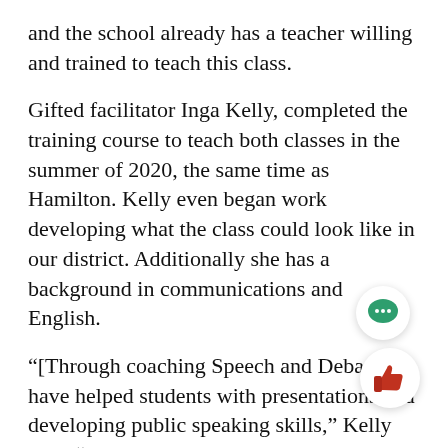and the school already has a teacher willing and trained to teach this class.
Gifted facilitator Inga Kelly, completed the training course to teach both classes in the summer of 2020, the same time as Hamilton. Kelly even began work developing what the class could look like in our district. Additionally she has a background in communications and English.
“[Through coaching Speech and Debate] I have helped students with presentations and developing public speaking skills,” Kelly said. “As a Voyagers teacher, I’ve worked a lot with kids on open ended projects and project-based learning. I feel like AP Seminar, for me as a educator, utilizes and activates all of the ski…